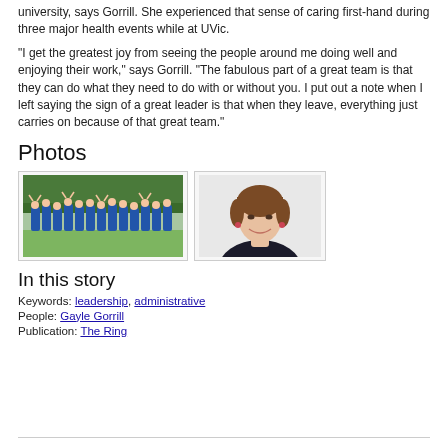university, says Gorrill. She experienced that sense of caring first-hand during three major health events while at UVic.
“I get the greatest joy from seeing the people around me doing well and enjoying their work,” says Gorrill. “The fabulous part of a great team is that they can do what they need to do with or without you. I put out a note when I left saying the sign of a great leader is that when they leave, everything just carries on because of that great team.”
Photos
[Figure (photo): Group photo of people in blue t-shirts outdoors with trees in background, arms raised]
[Figure (photo): Portrait of a woman with short brown hair smiling, against light background]
In this story
Keywords: leadership, administrative
People: Gayle Gorrill
Publication: The Ring